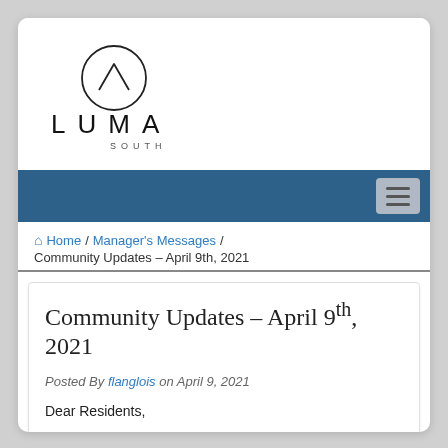[Figure (logo): Luma South logo: circle with chevron/mountain symbol above, text 'L U M A' in large spaced letters, 'S O U T H' in small spaced letters below]
Navigation bar with hamburger menu icon
Home / Manager's Messages / Community Updates – April 9th, 2021
Community Updates – April 9th, 2021
Posted By flanglois on April 9, 2021
Dear Residents,
Emergency Procedures Training